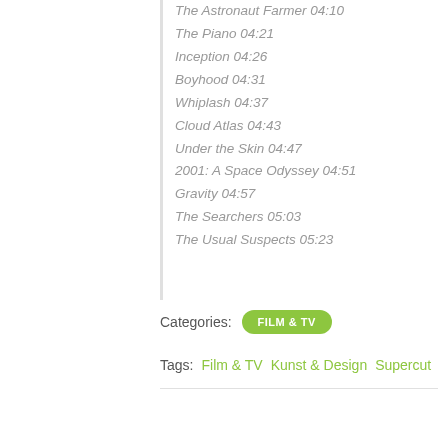The Astronaut Farmer 04:10
The Piano 04:21
Inception 04:26
Boyhood 04:31
Whiplash 04:37
Cloud Atlas 04:43
Under the Skin 04:47
2001: A Space Odyssey 04:51
Gravity 04:57
The Searchers 05:03
The Usual Suspects 05:23
Categories: FILM & TV
Tags: Film & TV   Kunst & Design   Supercut